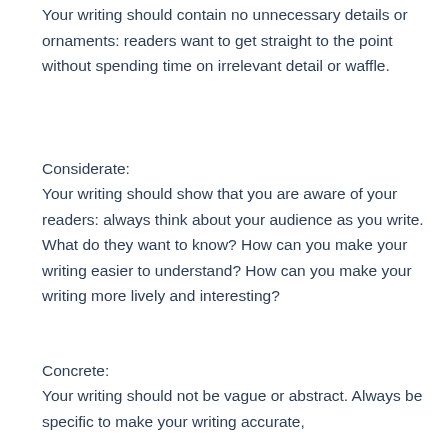Your writing should contain no unnecessary details or ornaments: readers want to get straight to the point without spending time on irrelevant detail or waffle.
Considerate:
Your writing should show that you are aware of your readers: always think about your audience as you write. What do they want to know? How can you make your writing easier to understand? How can you make your writing more lively and interesting?
Concrete:
Your writing should not be vague or abstract. Always be specific to make your writing accurate,